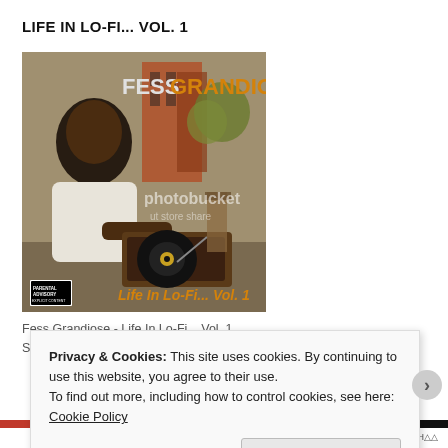LIFE IN LO-FI... VOL. 1
[Figure (photo): Album cover for 'Life In Lo-Fi... Vol. 1' by Fess Grandiose. Shows a young Black man in a white t-shirt leaning over a record player/turntable outdoors with urban background. Text on cover reads 'FESS GRANDIOSE' at top and 'Life In Lo-Fi... Vol. 1' at bottom. Photobucket watermark visible. Parental Advisory label in bottom-left corner.]
Fess Grandiose - Life In Lo-Fi... Vol. 1.
Self-produced debut album from Fess
Privacy & Cookies: This site uses cookies. By continuing to use this website, you agree to their use.
To find out more, including how to control cookies, see here: Cookie Policy
Close and accept